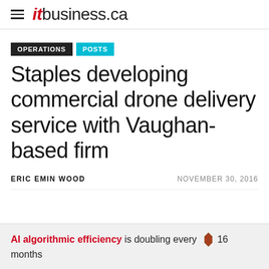itbusiness.ca
OPERATIONS  POSTS
Staples developing commercial drone delivery service with Vaughan-based firm
ERIC EMIN WOOD   NOVEMBER 30, 2016
AI algorithmic efficiency is doubling every 16 months